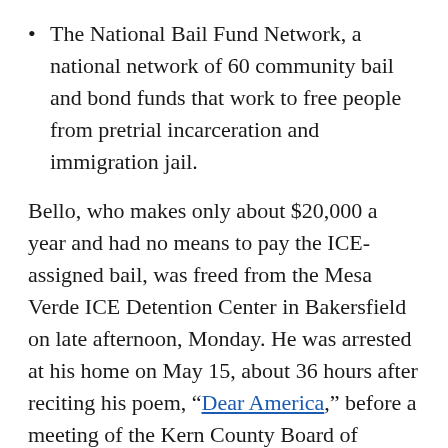The National Bail Fund Network, a national network of 60 community bail and bond funds that work to free people from pretrial incarceration and immigration jail.
Bello, who makes only about $20,000 a year and had no means to pay the ICE-assigned bail, was freed from the Mesa Verde ICE Detention Center in Bakersfield on late afternoon, Monday. He was arrested at his home on May 15, about 36 hours after reciting his poem, "Dear America," before a meeting of the Kern County Board of Supervisors.
"Jose Bello was exercising a fundamental right that we pride ourselves on as Americans," NFL